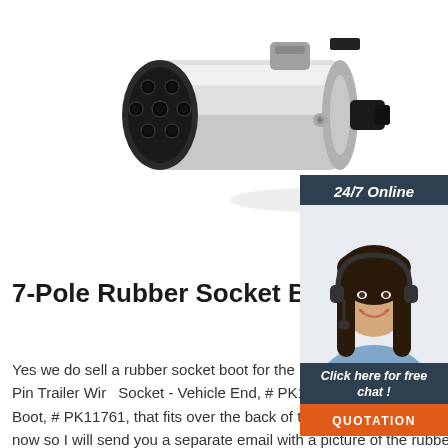[Figure (photo): 7-Pole round pin trailer wiring socket - silver metal cylindrical connector with black plastic face showing 7 pin holes, mounted with clamp bracket]
[Figure (photo): 24/7 Online chat widget showing a smiling female customer service agent wearing a headset, with 'Click here for free chat!' text and QUOTATION button on dark navy background]
7-Pole Rubber Socket Boot for the trailer
Yes we do sell a rubber socket boot for the Heavy-Duty, 7-Pole, Round Pin Trailer Wiring Socket - Vehicle End, # PK11720. The product is Pollak 7-Pole Rubber Socket Boot, # PK11761, that fits over the back of the socket. Our website is not showing a picture right now so I will send you a separate email with a picture of the rubber boot.